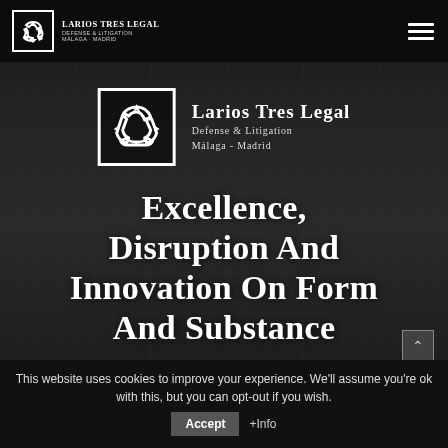Larios Tres Legal — Defense & Litigation — Málaga - Madrid
[Figure (logo): Larios Tres Legal logo with recycling-arrow style icon, white on dark, with text: Larios Tres Legal / Defense & Litigation / Málaga - Madrid]
Excellence, disruption and innovation on form and substance
This website uses cookies to improve your experience. We'll assume you're ok with this, but you can opt-out if you wish.
Accept | +Info